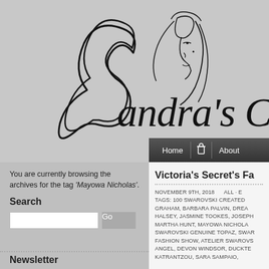[Figure (logo): Sandra's Closet fashion blog logo with stylized woman face illustration and cursive script text 'Sandra's Cl...']
Home | About
You are currently browsing the archives for the tag 'Mayowa Nicholas'.
Search
Victoria's Secret's Fa
NOVEMBER 9TH, 2018   ALL · TAGS: 100 SWAROVSKI CREATED DIAMOND, BARBARA GRAHAM, BARBARA PALVIN, DREAM... HALSEY, JASMINE TOOKES, JOSEPH... MARTHA HUNT, MAYOWA NICHOLA... SWAROVSKI GENUINE TOPAZ, SWAR... FASHION SHOW, ATELIER SWAROVS... ANGEL, DEVON WINDSOR, DUCKTE... KATRANTZOU, SARA SAMPAIO...
Newsletter